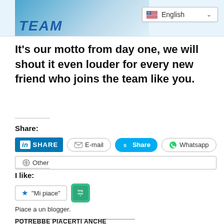[Figure (screenshot): Website header banner with blue gradient background showing partial logo text 'TEAM' and English language selector dropdown]
It's our motto from day one, we will shout it even louder for every new friend who joins the team like you.
Share:
[Figure (screenshot): Share buttons: LinkedIn SHARE, E-mail, Skype Share, Whatsapp, Other]
I like:
[Figure (screenshot): Like button with star icon labeled 'Mi piace' and a green blogger stamp icon]
Piace a un blogger.
POTREBBE PIACERTI ANCHE